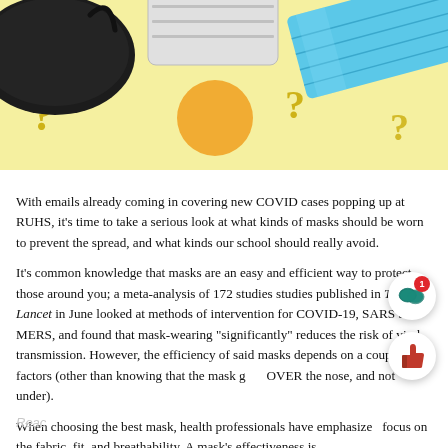[Figure (photo): Photo of three types of face masks (black cloth mask, white N95-style mask, blue surgical mask) arranged on a yellow background with orange circle and question mark symbols]
With emails already coming in covering new COVID cases popping up at RUHS, it's time to take a serious look at what kinds of masks should be worn to prevent the spread, and what kinds our school should really avoid.
It's common knowledge that masks are an easy and efficient way to protect those around you; a meta-analysis of 172 studies studies published in The Lancet in June looked at methods of intervention for COVID-19, SARS and MERS, and found that mask-wearing "significantly" reduces the risk of viral transmission. However, the efficiency of said masks depends on a couple of factors (other than knowing that the mask goes OVER the nose, and not under).
When choosing the best mask, health professionals have emphasized focus on the fabric, fit, and breathability. A mask's effectiveness is a matter of both material and how well it seals to your face. However, if a